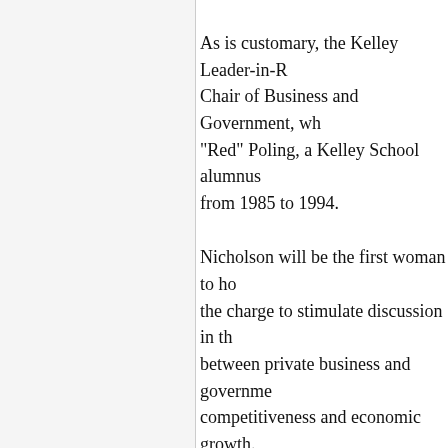As is customary, the Kelley Leader-in-Residence holds the Chair of Business and Government, wh... "Red" Poling, a Kelley School alumnus... from 1985 to 1994.
Nicholson will be the first woman to ho... the charge to stimulate discussion in th... between private business and governme... competitiveness and economic growth. at the Kelley School in Bloomington ar...
"I hope that my professional experience... well as with an established industry lea... on the differences and unique opportun... seems like only yesterday that I was a s...